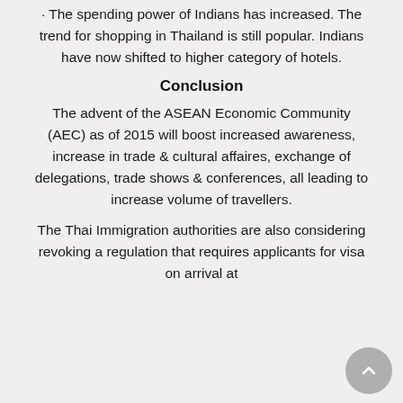· The spending power of Indians has increased. The trend for shopping in Thailand is still popular. Indians have now shifted to higher category of hotels.
Conclusion
The advent of the ASEAN Economic Community (AEC) as of 2015 will boost increased awareness, increase in trade & cultural affaires, exchange of delegations, trade shows & conferences, all leading to increase volume of travellers.
The Thai Immigration authorities are also considering revoking a regulation that requires applicants for visa on arrival at